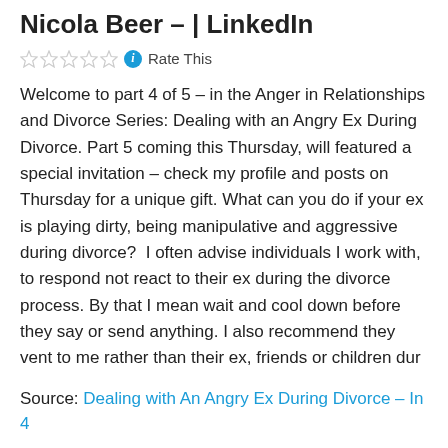Nicola Beer – | LinkedIn
Rate This
Welcome to part 4 of 5 – in the Anger in Relationships and Divorce Series: Dealing with an Angry Ex During Divorce. Part 5 coming this Thursday, will featured a special invitation – check my profile and posts on Thursday for a unique gift. What can you do if your ex is playing dirty, being manipulative and aggressive during divorce?  I often advise individuals I work with, to respond not react to their ex during the divorce process. By that I mean wait and cool down before they say or send anything. I also recommend they vent to me rather than their ex, friends or children dur
Source: Dealing with An Angry Ex During Divorce – In 4